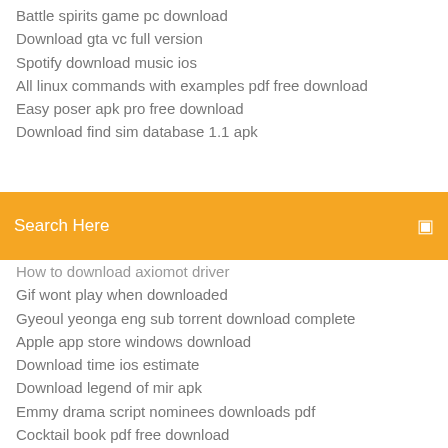Battle spirits game pc download
Download gta vc full version
Spotify download music ios
All linux commands with examples pdf free download
Easy poser apk pro free download
Download find sim database 1.1 apk
[Figure (screenshot): Orange search bar with text 'Search Here' and a search icon on the right]
How to download axiomot driver
Gif wont play when downloaded
Gyeoul yeonga eng sub torrent download complete
Apple app store windows download
Download time ios estimate
Download legend of mir apk
Emmy drama script nominees downloads pdf
Cocktail book pdf free download
Google router setup app download
Download firefox version 64
Antivirus malware full version download with key crack